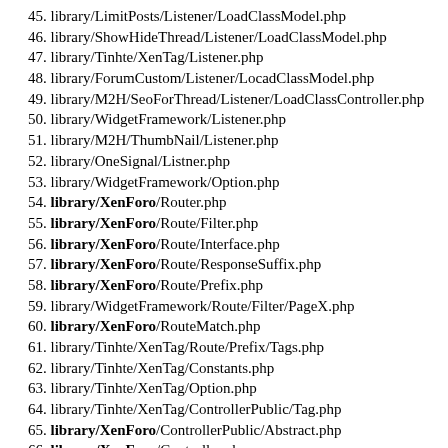45. library/LimitPosts/Listener/LoadClassModel.php
46. library/ShowHideThread/Listener/LoadClassModel.php
47. library/Tinhte/XenTag/Listener.php
48. library/ForumCustom/Listener/LocadClassModel.php
49. library/M2H/SeoForThread/Listener/LoadClassController.php
50. library/WidgetFramework/Listener.php
51. library/M2H/ThumbNail/Listener.php
52. library/OneSignal/Listner.php
53. library/WidgetFramework/Option.php
54. library/XenForo/Router.php
55. library/XenForo/Route/Filter.php
56. library/XenForo/Route/Interface.php
57. library/XenForo/Route/ResponseSuffix.php
58. library/XenForo/Route/Prefix.php
59. library/WidgetFramework/Route/Filter/PageX.php
60. library/XenForo/RouteMatch.php
61. library/Tinhte/XenTag/Route/Prefix/Tags.php
62. library/Tinhte/XenTag/Constants.php
63. library/Tinhte/XenTag/Option.php
64. library/Tinhte/XenTag/ControllerPublic/Tag.php
65. library/XenForo/ControllerPublic/Abstract.php
66. library/XenForo/Controller.php
67. library/FiveGiayStore/Listener/LoadClassController.php
68. library/Siropu/EasyUserBan/Listener.php
69. library/Vinavb/CustomNodeIcon/Listener.php